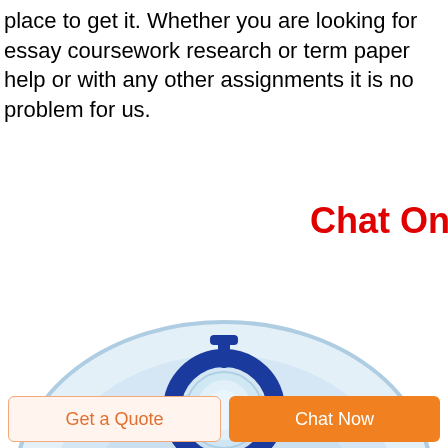place to get it. Whether you are looking for essay coursework research or term paper help or with any other assignments it is no problem for us.
Chat Online
[Figure (photo): Close-up photo of a clear medical oxygen mask with a blue plastic connector/valve in the center, viewed from above on a white background.]
Get a Quote
Chat Now